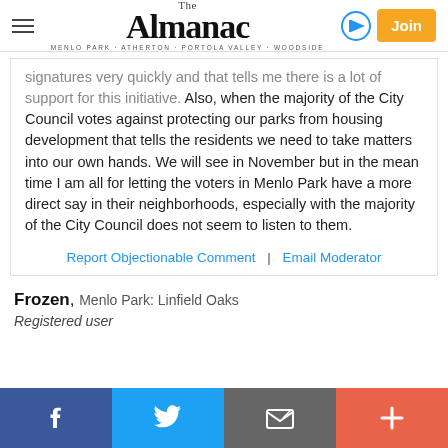The Almanac — Menlo Park · Atherton · Portola Valley · Woodside
signatures very quickly and that tells me there is a lot of support for this initiative. Also, when the majority of the City Council votes against protecting our parks from housing development that tells the residents we need to take matters into our own hands. We will see in November but in the mean time I am all for letting the voters in Menlo Park have a more direct say in their neighborhoods, especially with the majority of the City Council does not seem to listen to them.
Report Objectionable Comment | Email Moderator
Frozen, Menlo Park: Linfield Oaks
Registered user